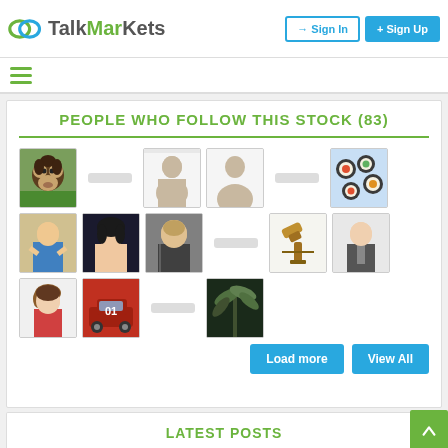TalkMarkets — Sign In | Sign Up
PEOPLE WHO FOLLOW THIS STOCK (83)
[Figure (screenshot): Grid of 18 user profile images/avatars showing followers of this stock. Includes profile photos (monkey, man eating, woman with dark hair, man in suit, older man, woman with short hair, car with 01, man with beard, man in suit 2) and generic silhouette avatars, plus placeholder bars for unnamed users. Also includes a sushi image and a telescope image and a palm leaves image.]
Load more   View All
LATEST POSTS
About This Stock   More About This Stock